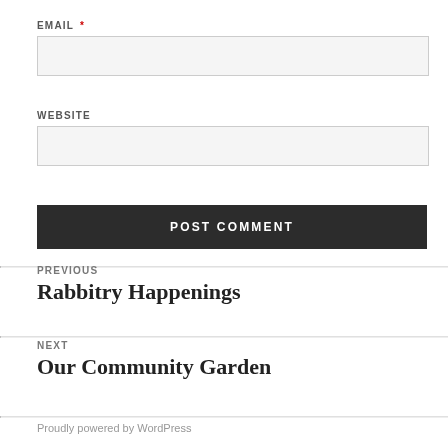EMAIL *
WEBSITE
POST COMMENT
PREVIOUS
Rabbitry Happenings
NEXT
Our Community Garden
Proudly powered by WordPress